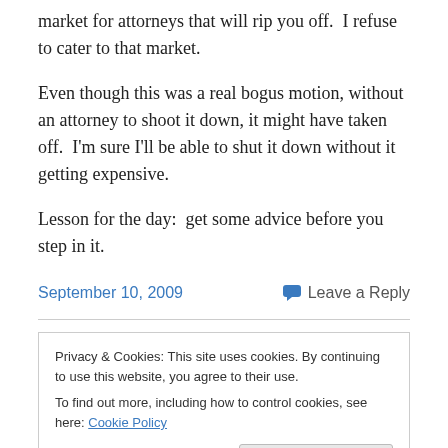market for attorneys that will rip you off.  I refuse to cater to that market.
Even though this was a real bogus motion, without an attorney to shoot it down, it might have taken off.  I'm sure I'll be able to shut it down without it getting expensive.
Lesson for the day:  get some advice before you step in it.
September 10, 2009
Leave a Reply
Privacy & Cookies: This site uses cookies. By continuing to use this website, you agree to their use.
To find out more, including how to control cookies, see here: Cookie Policy
Close and accept
Its no secret that mental illness is a huge problem today.  It